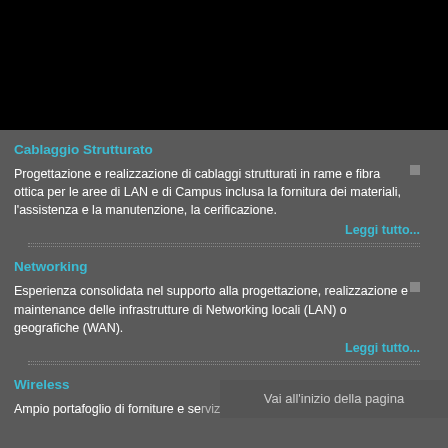Cablaggio Strutturato
Progettazione e realizzazione di cablaggi strutturati in rame e fibra ottica per le aree di LAN e di Campus inclusa la fornitura dei materiali, l'assistenza e la manutenzione, la cerificazione.
Leggi tutto...
Networking
Esperienza consolidata nel supporto alla progettazione, realizzazione e maintenance delle infrastrutture di Networking locali (LAN) o geografiche (WAN).
Leggi tutto...
Wireless
Ampio portafoglio di forniture e servizi nell'ambito delle reti
Vai all'inizio della pagina